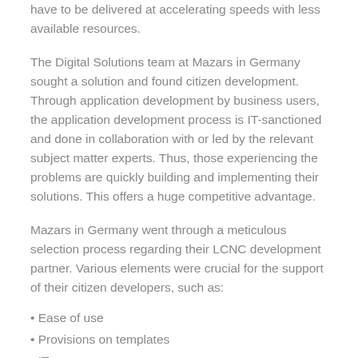have to be delivered at accelerating speeds with less available resources.
The Digital Solutions team at Mazars in Germany sought a solution and found citizen development. Through application development by business users, the application development process is IT-sanctioned and done in collaboration with or led by the relevant subject matter experts. Thus, those experiencing the problems are quickly building and implementing their solutions. This offers a huge competitive advantage.
Mazars in Germany went through a meticulous selection process regarding their LCNC development partner. Various elements were crucial for the support of their citizen developers, such as:
Ease of use
Provisions on templates
IT governance
Good documentation and training videos